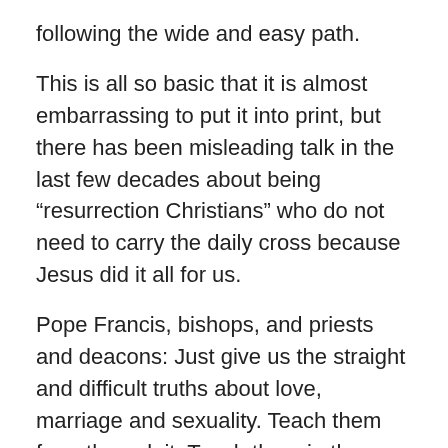following the wide and easy path.
This is all so basic that it is almost embarrassing to put it into print, but there has been misleading talk in the last few decades about being “resurrection Christians” who do not need to carry the daily cross because Jesus did it all for us.
Pope Francis, bishops, and priests and deacons: Just give us the straight and difficult truths about love, marriage and sexuality. Teach them from the pulpit. Teach them in the grade and high school years. Teach purity as well as service projects in preparation for Confirmation. Teach and preach Humanae Vitae. It is eminently believable and practical in the light of Christian discipleship. The fruit of 20 years of such teaching and preaching will be a revitalized Church giving glory to God.